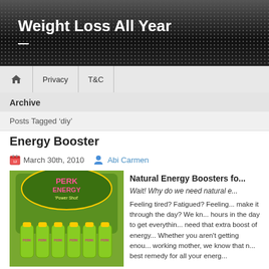Weight Loss All Year
Archive
Posts Tagged 'diy'
Energy Booster
March 30th, 2010   Abi Carmen
[Figure (photo): Display of PERK ENERGY Power Shot green bottles stacked in a retail display]
Natural Energy Boosters fo...
Wait! Why do we need natural e...
Feeling tired? Fatigued? Feeling... make it through the day? We kn... hours in the day to get everythin... need that extra boost of energy... Whether you aren't getting enou... working mother, we know that n... best remedy for all your energ...